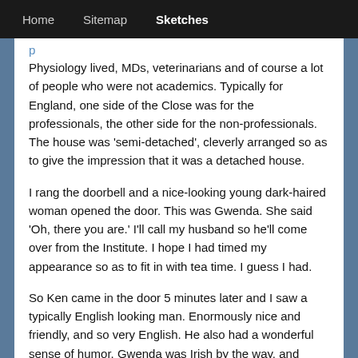Home   Sitemap   Sketches
Physiology lived, MDs, veterinarians and of course a lot of people who were not academics. Typically for England, one side of the Close was for the professionals, the other side for the non-professionals. The house was 'semi-detached', cleverly arranged so as to give the impression that it was a detached house.
I rang the doorbell and a nice-looking young dark-haired woman opened the door. This was Gwenda. She said 'Oh, there you are.' I'll call my husband so he'll come over from the Institute. I hope I had timed my appearance so as to fit in with tea time. I guess I had.
So Ken came in the door 5 minutes later and I saw a typically English looking man. Enormously nice and friendly, and so very English. He also had a wonderful sense of humor. Gwenda was Irish by the way, and much later Ken said, only half jokingly, that he would never have married an English girl.